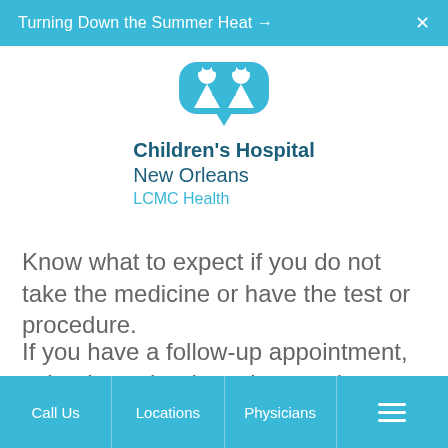Turning Down the Summer Heat →  ✕
[Figure (logo): Children's Hospital New Orleans LCMC Health logo with two children icon in teal]
Know what to expect if you do not take the medicine or have the test or procedure.
If you have a follow-up appointment, write down the date, time, and purpose for that visit.
Call Us   Locations   Physicians   ☰